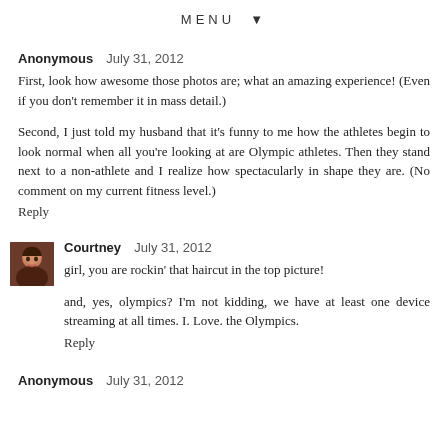MENU ▼
Anonymous  July 31, 2012
First, look how awesome those photos are; what an amazing experience! (Even if you don't remember it in mass detail.)
Second, I just told my husband that it's funny to me how the athletes begin to look normal when all you're looking at are Olympic athletes. Then they stand next to a non-athlete and I realize how spectacularly in shape they are. (No comment on my current fitness level.)
Reply
Courtney  July 31, 2012
girl, you are rockin' that haircut in the top picture!
and, yes, olympics? I'm not kidding, we have at least one device streaming at all times. I. Love. the Olympics.
Reply
Anonymous  July 31, 2012